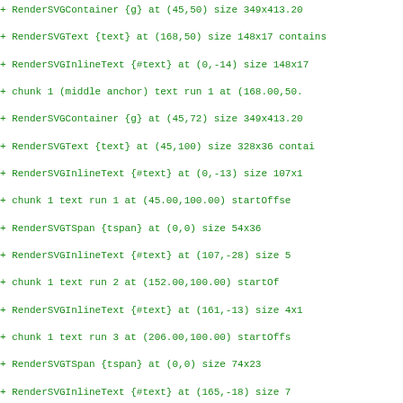Code/diff output showing RenderSVG tree nodes with coordinates and sizes